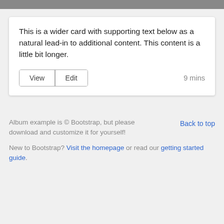This is a wider card with supporting text below as a natural lead-in to additional content. This content is a little bit longer.
View  Edit                                        9 mins
Album example is © Bootstrap, but please download and customize it for yourself!
New to Bootstrap? Visit the homepage or read our getting started guide.